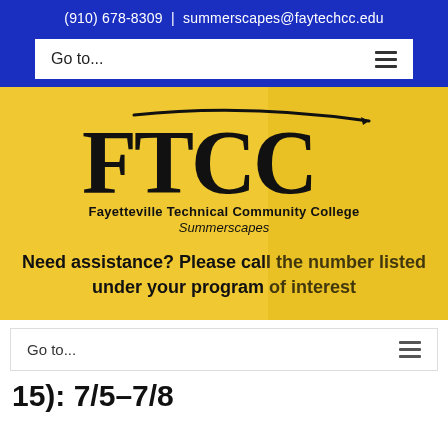(910) 678-8309 | summerscapes@faytechcc.edu
[Figure (logo): FTCC - Fayetteville Technical Community College Summerscapes logo on yellow background]
Need assistance? Please call the number listed under your program of interest
Go to...
15): 7/5-7/8